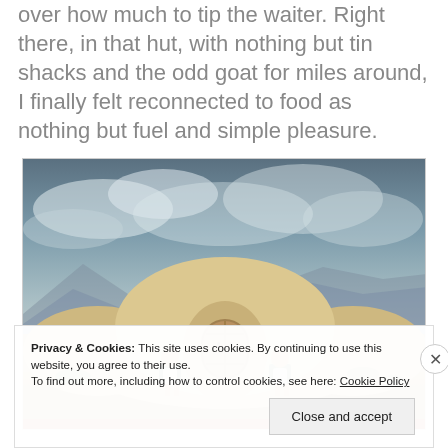over how much to tip the waiter. Right there, in that hut, with nothing but tin shacks and the odd goat for miles around, I finally felt reconnected to food as nothing but fuel and simple pleasure.
[Figure (photo): Two people sitting in chairs outside a rounded adobe/earthen hut structure with a wooden circular door, in a desert landscape with dramatic cloudy sky and mountains in the background.]
Privacy & Cookies: This site uses cookies. By continuing to use this website, you agree to their use. To find out more, including how to control cookies, see here: Cookie Policy